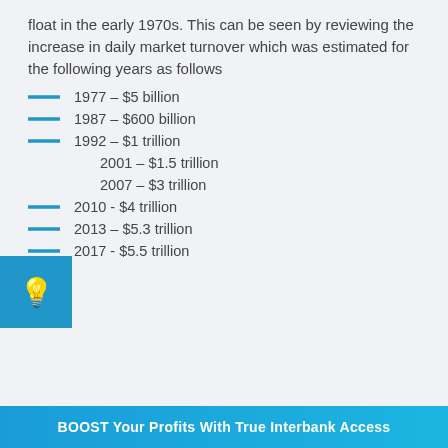float in the early 1970s. This can be seen by reviewing the increase in daily market turnover which was estimated for the following years as follows
1977 – $5 billion
1987 – $600 billion
1992 – $1 trillion
2001 – $1.5 trillion
2007 – $3 trillion
2010 - $4 trillion
2013 – $5.3 trillion
2017 - $5.5 trillion
BOOST Your Profits With True Interbank Access